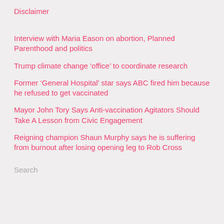Disclaimer
Interview with Maria Eason on abortion, Planned Parenthood and politics
Trump climate change ‘office’ to coordinate research
Former ‘General Hospital’ star says ABC fired him because he refused to get vaccinated
Mayor John Tory Says Anti-vaccination Agitators Should Take A Lesson from Civic Engagement
Reigning champion Shaun Murphy says he is suffering from burnout after losing opening leg to Rob Cross
Search